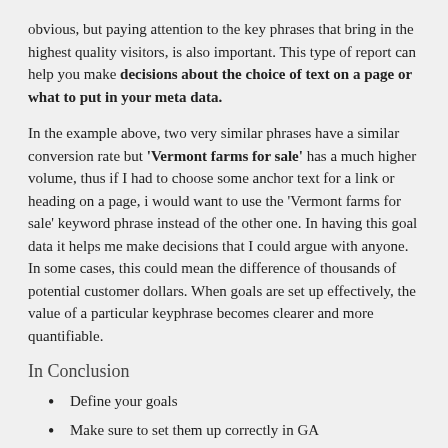obvious, but paying attention to the key phrases that bring in the highest quality visitors, is also important. This type of report can help you make decisions about the choice of text on a page or what to put in your meta data.
In the example above, two very similar phrases have a similar conversion rate but 'Vermont farms for sale' has a much higher volume, thus if I had to choose some anchor text for a link or heading on a page, i would want to use the 'Vermont farms for sale' keyword phrase instead of the other one. In having this goal data it helps me make decisions that I could argue with anyone.  In some cases, this could mean the difference of thousands of potential customer dollars. When goals are set up effectively, the value of a particular keyphrase becomes clearer and more quantifiable.
In Conclusion
Define your goals
Make sure to set them up correctly in GA
Use them to draw out actionable insights from your data, in order to make better decisions about your website.